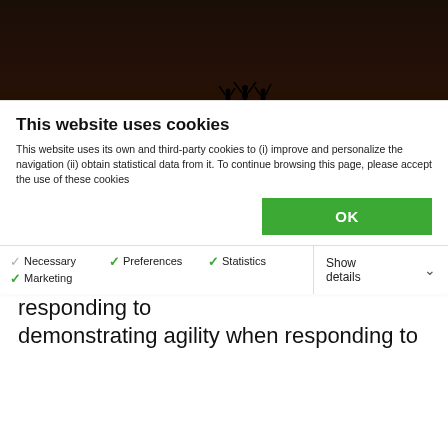[Figure (photo): Silhouette of people with arms raised on rocky hilltop at sunset, orange and dark sky gradient background]
We expect leaders to move quickly and decisively, demonstrating agility when responding to
This website uses cookies
This website uses its own and third-party cookies to (i) improve and personalize the navigation (ii) obtain statistical data from it. To continue browsing this page, please accept the use of these cookies
OK
Necessary  Preferences  Statistics  Marketing  Show details